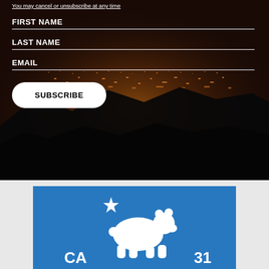You may cancel or unsubscribe at any time
FIRST NAME
LAST NAME
EMAIL
SUBSCRIBE
[Figure (logo): California state logo on blue background with white bear silhouette, star, and text 'CA 31']